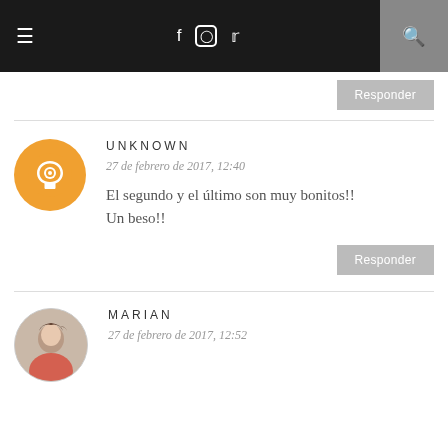≡  f  Instagram  Twitter  🔍
Responder
UNKNOWN
27 de febrero de 2017, 12:40
El segundo y el último son muy bonitos!!
Un beso!!
Responder
MARIAN
27 de febrero de 2017, 12:52